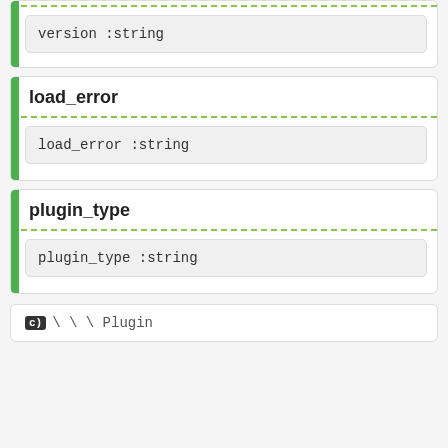version :string
load_error
load_error :string
plugin_type
plugin_type :string
C \\ \ Plugin